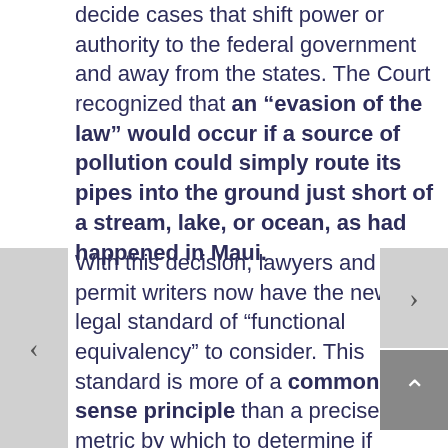decide cases that shift power or authority to the federal government and away from the states. The Court recognized that an “evasion of the law” would occur if a source of pollution could simply route its pipes into the ground just short of a stream, lake, or ocean, as had happened in Maui.
With this decision, lawyers and permit writers now have the new legal standard of “functional equivalency” to consider. This standard is more of a common sense principle than a precise metric by which to determine if pollution flowing underground and ultimately seeping into streams or other surface waters is subject to the Clean Water Act and the terms and conditions of a permit.